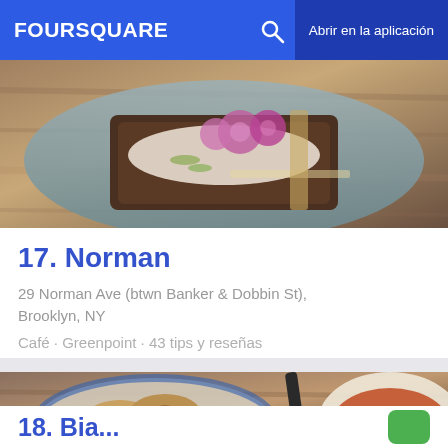FOURSQUARE  Abrir en la aplicación
[Figure (photo): Food photo showing an open-face sandwich on dark rye bread with cream cheese and thinly sliced radishes on a blue plate, on a wooden table]
17. Norman
29 Norman Ave (btwn Banker & Dobbin St), Brooklyn, NY
Café · Greenpoint · 43 tips y reseñas
[Figure (photo): Food photo showing a plate of pan-fried dumplings/pierogi on a blue and white plate, and a bowl of ramen with broth and vegetables, on a wooden table]
18. Bia...